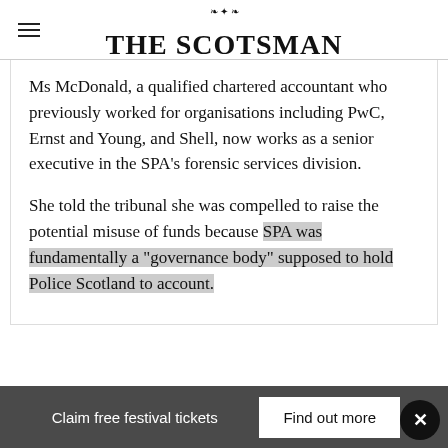THE SCOTSMAN
Ms McDonald, a qualified chartered accountant who previously worked for organisations including PwC, Ernst and Young, and Shell, now works as a senior executive in the SPA’s forensic services division.
She told the tribunal she was compelled to raise the potential misuse of funds because SPA was fundamentally a “governance body” supposed to hold Police Scotland to account.
Claim free festival tickets   Find out more